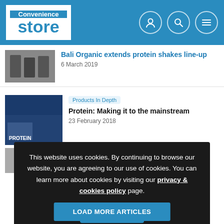Convenience Store
Bali Organic extends protein shakes line-up
6 March 2019
Products In Depth
Protein: Making it to the mainstream
23 February 2018
This website uses cookies. By continuing to browse our website, you are agreeing to our use of cookies. You can learn more about cookies by visiting our privacy & cookies policy page.
OK
LOAD MORE ARTICLES